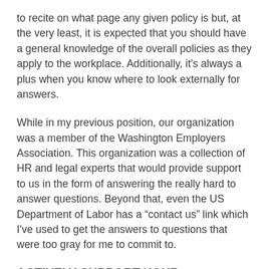to recite on what page any given policy is but, at the very least, it is expected that you should have a general knowledge of the overall policies as they apply to the workplace. Additionally, it's always a plus when you know where to look externally for answers.
While in my previous position, our organization was a member of the Washington Employers Association. This organization was a collection of HR and legal experts that would provide support to us in the form of answering the really hard to answer questions. Beyond that, even the US Department of Labor has a “contact us” link which I've used to get the answers to questions that were too gray for me to commit to.
ACTIVELY SUPPORT YOUR ORGANIZATION
Many times it can be easy for an HR unit to fall into the “work when activated” mode. This is the pattern where HR